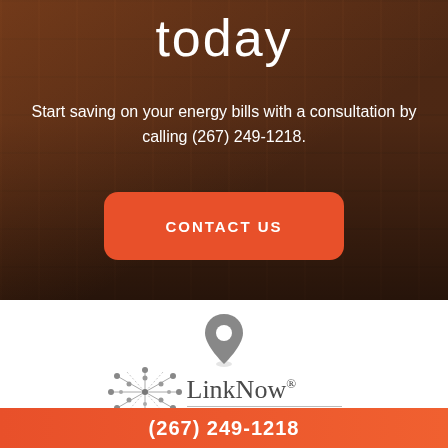today
Start saving on your energy bills with a consultation by calling (267) 249-1218.
CONTACT US
[Figure (illustration): Map location pin icon in gray]
[Figure (logo): LinkNow logo with geometric dot-and-line pattern and registered trademark symbol]
(267) 249-1218